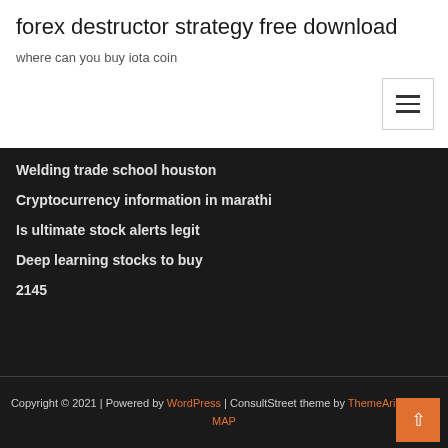forex destructor strategy free download
where can you buy iota coin
Welding trade school houston
Cryptocurrency information in marathi
Is ultimate stock alerts legit
Deep learning stocks to buy
2145
Copyright © 2021 | Powered by WordPress | ConsultStreet theme by ThemeArile HTML MAP